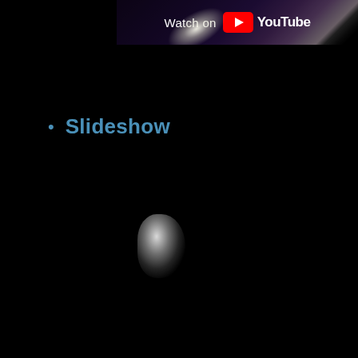[Figure (screenshot): YouTube 'Watch on YouTube' overlay button on a dark video thumbnail with light streaks and purple gradient background]
Slideshow
[Figure (photo): Faint glowing white light orb or bokeh blur against a black background]